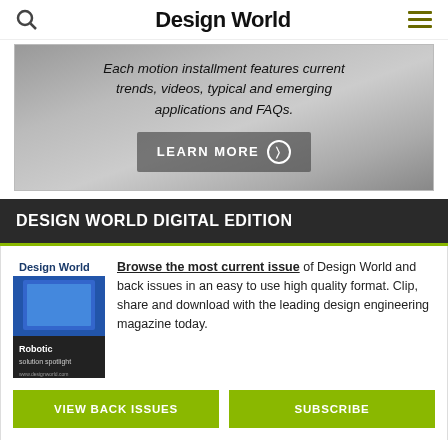Design World
[Figure (screenshot): Banner advertisement with text: Each motion installment features current trends, videos, typical and emerging applications and FAQs. LEARN MORE button with arrow.]
DESIGN WORLD DIGITAL EDITION
[Figure (photo): Design World magazine cover featuring Robotic solution spotlight]
Browse the most current issue of Design World and back issues in an easy to use high quality format. Clip, share and download with the leading design engineering magazine today.
VIEW BACK ISSUES
SUBSCRIBE